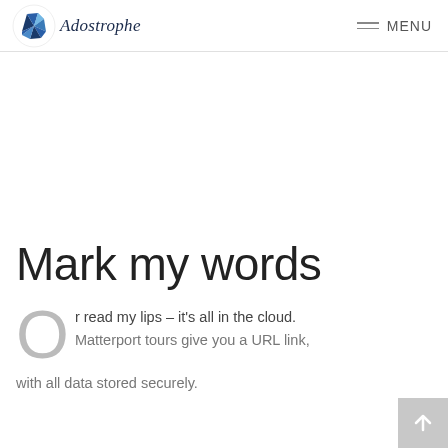Adostrophe — MENU
[Figure (logo): Adostrophe logo with blue geometric star/globe icon and italic serif text 'Adostrophe']
Mark my words
Or read my lips – it's all in the cloud. Matterport tours give you a URL link, with all data stored securely.